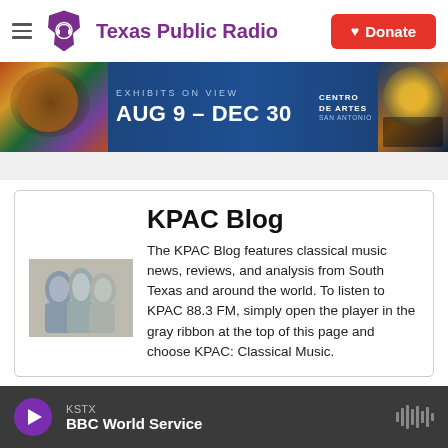Texas Public Radio | Donate
[Figure (screenshot): Ad banner: EXHIBITS ON VIEW AUG 9 - DEC 30 at Centro de Artes San Antonio, dark blue background with colorful art images on left and right]
KPAC Blog
[Figure (photo): Thumbnail image of abstract painted figures, used for KPAC Blog]
The KPAC Blog features classical music news, reviews, and analysis from South Texas and around the world. To listen to KPAC 88.3 FM, simply open the player in the gray ribbon at the top of this page and choose KPAC: Classical Music.
KSTX | BBC World Service